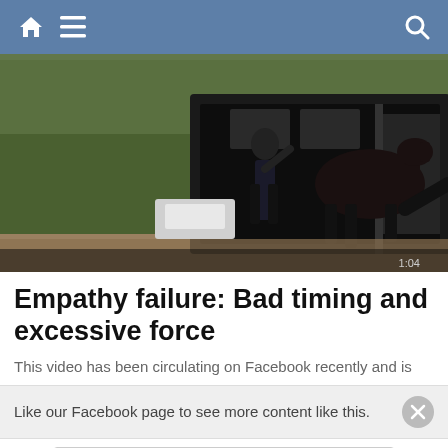Navigation bar with home, menu, and search icons
[Figure (photo): Video screenshot showing a person and a dark horse near a horse trailer/transport vehicle outdoors]
Empathy failure: Bad timing and excessive force
This video has been circulating on Facebook recently and is
Like our Facebook page to see more content like this.
[Figure (screenshot): Facebook Follow Page widget for 'Good Horse' page showing 1.5K followers]